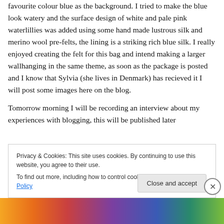favourite colour blue as the background. I tried to make the blue look watery and the surface design of white and pale pink waterlillies was added using some hand made lustrous silk and merino wool pre-felts, the lining is a striking rich blue silk. I really enjoyed creating the felt for this bag and intend making a larger wallhanging in the same theme, as soon as the package is posted and I know that Sylvia (she lives in Denmark) has recieved it I will post some images here on the blog.
Tomorrow morning I will be recording an interview about my experiences with blogging, this will be published later
Privacy & Cookies: This site uses cookies. By continuing to use this website, you agree to their use.
To find out more, including how to control cookies, see here: Cookie Policy
Close and accept